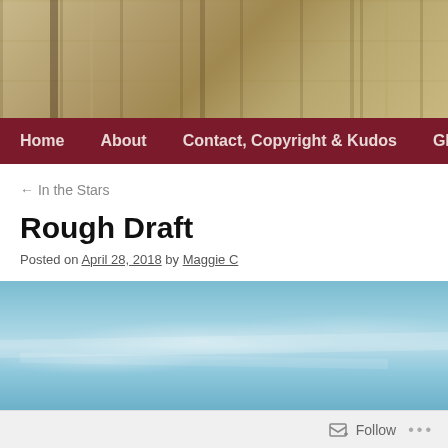[Figure (photo): Sepia-toned header photo of an interior scene, possibly a library or hallway with vertical structures visible]
Home   About   Contact, Copyright & Kudos   Gl…
← In the Stars
Rough Draft
Posted on April 28, 2018 by Maggie C
[Figure (photo): Wide landscape photo of a blue sky with light wispy clouds]
Follow   ...